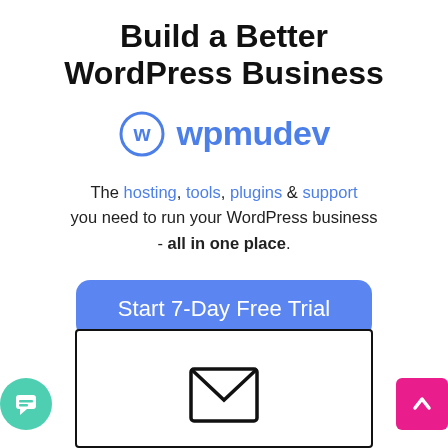Build a Better WordPress Business
[Figure (logo): WPMU DEV logo: circular W icon in blue outline followed by 'wpmudev' in blue text]
The hosting, tools, plugins & support you need to run your WordPress business - all in one place.
[Figure (other): Blue rounded rectangle button labeled 'Start 7-Day Free Trial']
[Figure (other): Bordered box containing an email envelope icon, with a teal chat bubble button at bottom-left and a pink/magenta up-arrow button at bottom-right]